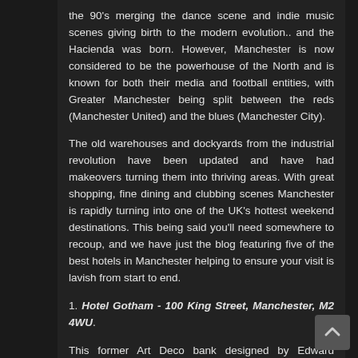the 90's merging the dance scene and indie music scenes giving birth to the modern evolution.. and the Hacienda was born. However, Manchester is now considered to be the powerhouse of the North and is known for both their media and football entities, with Greater Manchester being split between the reds (Manchester United) and the blues (Manchester City).
The old warehouses and dockyards from the industrial revolution have been updated and have had makeovers turning them into thriving areas. With great shopping, fine dining and clubbing scenes Manchester is rapidly turning into one of the UK's hottest weekend destinations. This being said you'll need somewhere to recoup, and we have just the blog featuring five of the best hotels in Manchester helping to ensure your visit is lavish from start to end.
1. Hotel Gotham - 100 King Street, Manchester, M2 4WU.
This former Art Deco bank designed by Edward Lutyens was built in 1928 but in 2015 it underwent an extensive transformation and became the 5* Hotel Gotham.